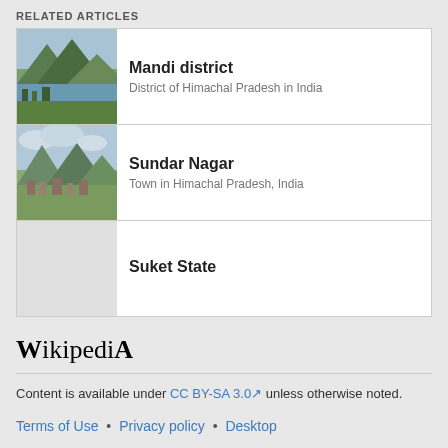RELATED ARTICLES
Mandi district — District of Himachal Pradesh in India
Sundar Nagar — Town in Himachal Pradesh, India
Suket State
[Figure (logo): Wikipedia logo wordmark: 'Wikipedia' in serif font]
Content is available under CC BY-SA 3.0 unless otherwise noted.
Terms of Use • Privacy policy • Desktop